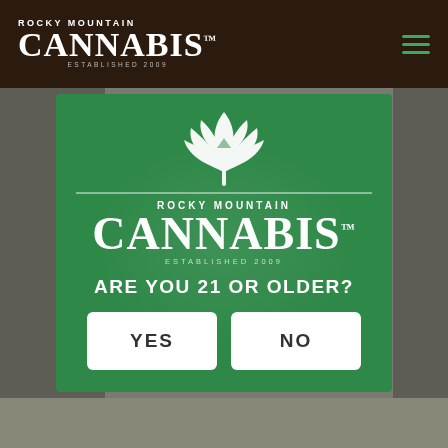ROCKY MOUNTAIN CANNABIS. ESTABLISHED 2009
[Figure (logo): Rocky Mountain Cannabis logo with cannabis leaf icon, text ROCKY MOUNTAIN CANNABIS TM ESTABLISHED 2009 on green background]
ARE YOU 21 OR OLDER?
YES
NO